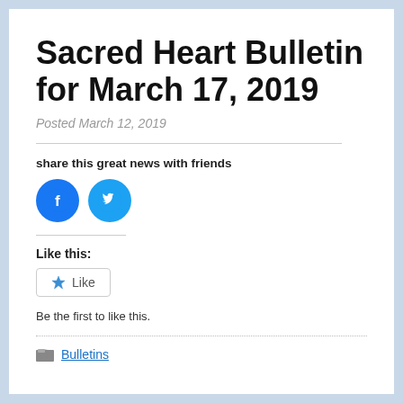Sacred Heart Bulletin for March 17, 2019
Posted March 12, 2019
share this great news with friends
[Figure (other): Facebook and Twitter share icon buttons (blue circles with logos)]
Like this:
[Figure (other): Like button widget with star icon]
Be the first to like this.
Bulletins